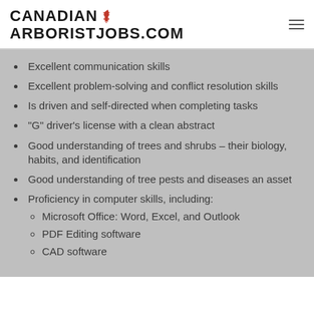CANADIAN ARBORISTJOBS.COM
Excellent communication skills
Excellent problem-solving and conflict resolution skills
Is driven and self-directed when completing tasks
“G” driver’s license with a clean abstract
Good understanding of trees and shrubs – their biology, habits, and identification
Good understanding of tree pests and diseases an asset
Proficiency in computer skills, including: Microsoft Office: Word, Excel, and Outlook; PDF Editing software; CAD software